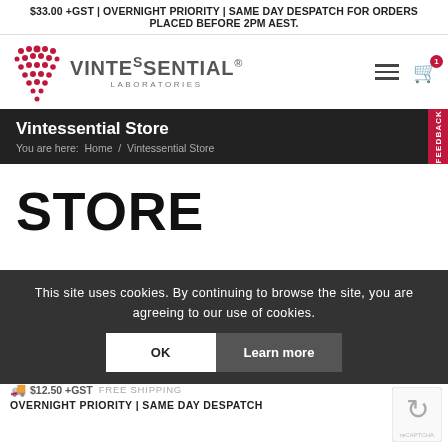$33.00 +GST | OVERNIGHT PRIORITY | SAME DAY DESPATCH FOR ORDERS PLACED BEFORE 2PM AEST.
[Figure (logo): Vintessential Laboratories logo with stylized grape cluster dots and text]
Vintessential Store
You are here: Home / Vintessential Store
STORE
This site uses cookies. By continuing to browse the site, you are agreeing to our use of cookies.
$12.50 +GST FREE SHIPPING OVERNIGHT PRIORITY | SAME DAY DESPATCH